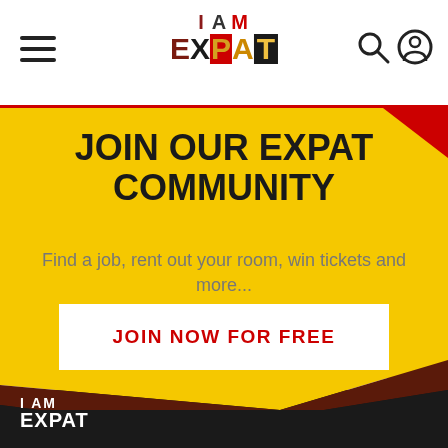[Figure (logo): I AM EXPAT logo with colorful letters in red, black, yellow/brown tones]
[Figure (illustration): Hamburger menu icon (three horizontal lines) on left side of header]
[Figure (illustration): Search (magnifying glass) and user account icons on right side of header]
JOIN OUR EXPAT COMMUNITY
Find a job, rent out your room, win tickets and more...
JOIN NOW FOR FREE
[Figure (logo): I AM EXPAT white logo on black background at bottom of page]